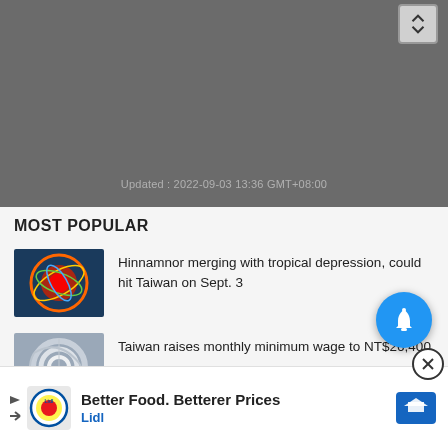[Figure (screenshot): Top-right icon with up/down arrow symbol on grey background]
Updated : 2022-09-03 13:36 GMT+08:00
MOST POPULAR
Hinnamnor merging with tropical depression, could hit Taiwan on Sept. 3
Taiwan raises monthly minimum wage to NT$26,400
Typhoon Hinnamnor swallows tropical depression...
[Figure (other): Blue circular bell/notification button]
[Figure (other): Advertisement banner: Better Food. Betterer Prices - Lidl]